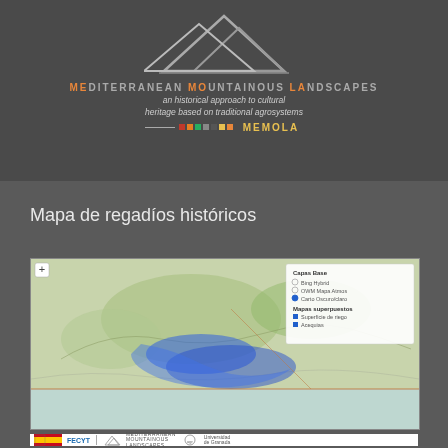[Figure (logo): MEMOLA project logo with mountain silhouette and text: MEDITERRANEAN MOUNTAINOUS LANDSCAPES an historical approach to cultural heritage based on traditional agrosystems MEMOLA]
Mapa de regadíos históricos
[Figure (map): Interactive web map showing historical irrigation areas in southern Spain (Andalusia region), with blue overlays indicating irrigated zones, on a terrain base map. Includes a layer control panel in the upper right corner with options for base layers and overlay layers including 'Superficie de riego' and 'Acequias'.]
[Figure (logo): Footer logos: Spanish government logo, FECYT logo, MEDITERRANEAN MOUNTAINOUS LANDSCAPES logo, and Universidad de Granada logo]